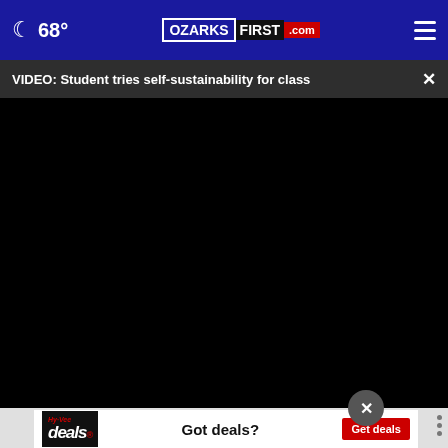68° OZARKSFIRST.com
VIDEO: Student tries self-sustainability for class
[Figure (screenshot): Black video player area for embedded video]
[Figure (screenshot): Hy-Vee Deals advertisement banner with 'Got deals? Get deals' text]